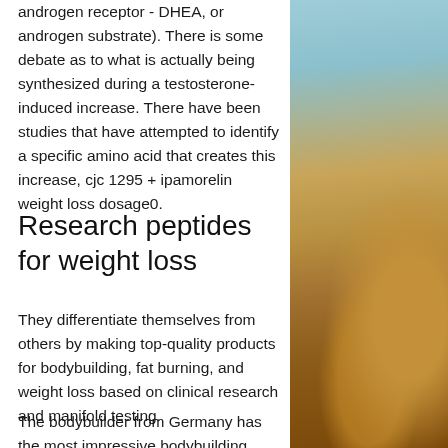androgen receptor - DHEA, or androgen substrate). There is some debate as to what is actually being synthesized during a testosterone-induced increase. There have been studies that have attempted to identify a specific amino acid that creates this increase, cjc 1295 + ipamorelin weight loss dosage0.
Research peptides for weight loss
They differentiate themselves from others by making top-quality products for bodybuilding, fat burning, and weight loss based on clinical research and manifold testing.
The bodybuilder from Germany has the most impressive bodybuilding arsenal ever built.
[Figure (photo): Outdoor photo showing hay bales and a blue sky with a warm rustic tone, positioned on the right side of the page.]